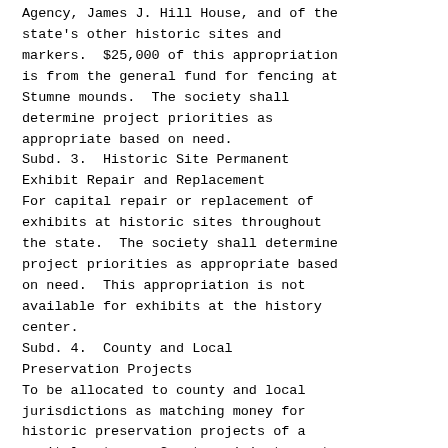Agency, James J. Hill House, and of the state's other historic sites and markers.  $25,000 of this appropriation is from the general fund for fencing at Stumne mounds.  The society shall determine project priorities as appropriate based on need.
Subd. 3.  Historic Site Permanent Exhibit Repair and Replacement
For capital repair or replacement of exhibits at historic sites throughout the state.  The society shall determine project priorities as appropriate based on need.  This appropriation is not available for exhibits at the history center.
Subd. 4.  County and Local Preservation Projects
To be allocated to county and local jurisdictions as matching money for historic preservation projects of a capital nature.  Grant recipients must be public entities and must match state funds on at least an equal basis.
Subd. 5.  ISTEA Preservation Grants